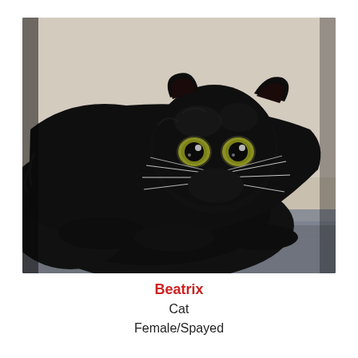[Figure (photo): A small black fluffy kitten lying on a grey surface, facing the camera with striking yellow-green eyes. The kitten has long black whiskers and a round face. The background is light beige/cream.]
Beatrix
Cat
Female/Spayed